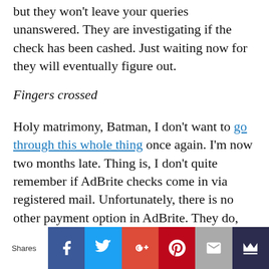but they won't leave your queries unanswered. They are investigating if the check has been cashed. Just waiting now for they will eventually figure out.
Fingers crossed
Holy matrimony, Batman, I don't want to go through this whole thing once again. I'm now two months late. Thing is, I don't quite remember if AdBrite checks come in via registered mail. Unfortunately, there is no other payment option in AdBrite. They do, however, come in like clockwork on the the second week of every month. I have already